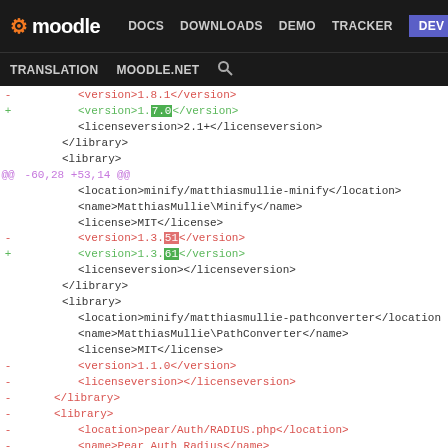Moodle DEV navigation bar with DOCS DOWNLOADS DEMO TRACKER DEV links, TRANSLATION MOODLE.NET search
[Figure (screenshot): Moodle developer site navigation bar showing logo, nav links (DOCS, DOWNLOADS, DEMO, TRACKER, DEV highlighted in blue), and second row with TRANSLATION, MOODLE.NET, search icon]
Code diff showing XML library version changes:
-     <version>1.8.1</version>
+     <version>1.7.0</version>
      <licenseversion>2.1+</licenseversion>
    </library>
    <library>
@@ -60,28 +53,14 @@
      <location>minify/matthiasmullie-minify</location>
      <name>MatthiasMullie\Minify</name>
      <license>MIT</license>
-     <version>1.3.51</version>
+     <version>1.3.61</version>
      <licenseversion></licenseversion>
    </library>
    <library>
      <location>minify/matthiasmullie-pathconverter</location>
      <name>MatthiasMullie\PathConverter</name>
      <license>MIT</license>
-     <version>1.1.0</version>
-     <licenseversion></licenseversion>
-   </library>
-   <library>
-     <location>pear/Auth/RADIUS.php</location>
-     <name>Pear_Auth_Radius</name>
-     <license>BSD</license>
-     <version>1.1.0</version>
-     <licenseversion>